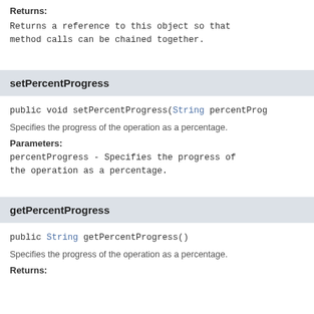Returns:
Returns a reference to this object so that method calls can be chained together.
setPercentProgress
public void setPercentProgress(String percentProg
Specifies the progress of the operation as a percentage.
Parameters:
percentProgress - Specifies the progress of the operation as a percentage.
getPercentProgress
public String getPercentProgress()
Specifies the progress of the operation as a percentage.
Returns: